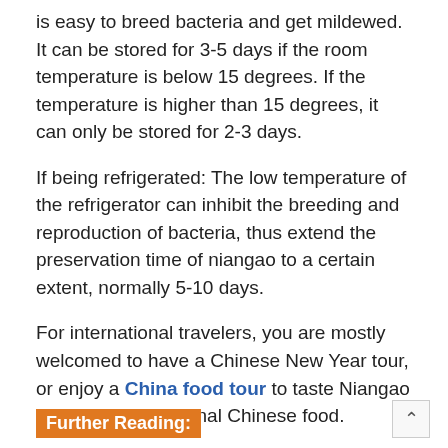is easy to breed bacteria and get mildewed. It can be stored for 3-5 days if the room temperature is below 15 degrees. If the temperature is higher than 15 degrees, it can only be stored for 2-3 days.
If being refrigerated: The low temperature of the refrigerator can inhibit the breeding and reproduction of bacteria, thus extend the preservation time of niangao to a certain extent, normally 5-10 days.
For international travelers, you are mostly welcomed to have a Chinese New Year tour, or enjoy a China food tour to taste Niangao and various traditional Chinese food.
Further Reading: